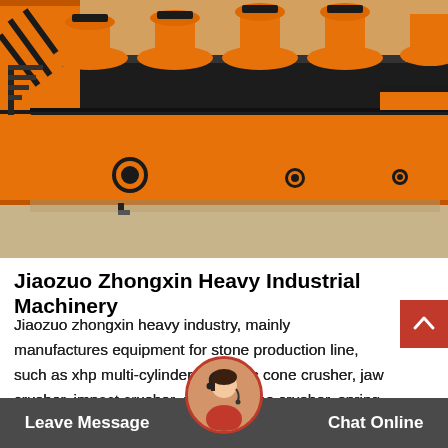[Figure (photo): Large orange industrial heavy machinery equipment (flotation cells/mining machinery) in a factory/warehouse setting. The machine has a long horizontal trough with circular ports and mechanical components on top.]
Jiaozuo Zhongxin Heavy Industrial Machinery
Jiaozuo zhongxin heavy industry, mainly manufactures equipment for stone production line, such as xhp multi-cylinder hydraulic cone crusher, jaw crusher, impact crusher, symons cone crusher, spring cone crusher, sand making machine, vibrating feeder....
Leave Message   Chat Online